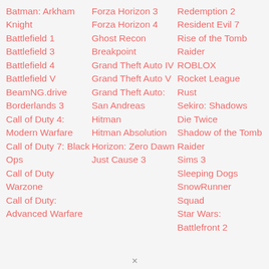Batman: Arkham Knight
Battlefield 1
Battlefield 3
Battlefield 4
Battlefield V
BeamNG.drive
Borderlands 3
Call of Duty 4: Modern Warfare
Call of Duty 7: Black Ops
Call of Duty Warzone
Call of Duty: Advanced Warfare
Forza Horizon 3
Forza Horizon 4
Ghost Recon Breakpoint
Grand Theft Auto IV
Grand Theft Auto V
Grand Theft Auto: San Andreas
Hitman
Hitman Absolution
Horizon: Zero Dawn
Just Cause 3
Redemption 2
Resident Evil 7
Rise of the Tomb Raider
ROBLOX
Rocket League
Rust
Sekiro: Shadows Die Twice
Shadow of the Tomb Raider
Sims 3
Sleeping Dogs
SnowRunner
Squad
Star Wars: Battlefront 2